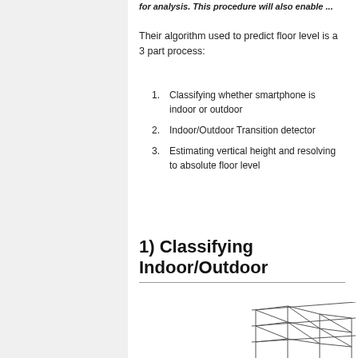for analysis. This procedure will also enable ...
Their algorithm used to predict floor level is a 3 part process:
1. Classifying whether smartphone is indoor or outdoor
2. Indoor/Outdoor Transition detector
3. Estimating vertical height and resolving to absolute floor level
1) Classifying Indoor/Outdoor
[Figure (illustration): Partial view of a building/structure sketch or architectural diagram]